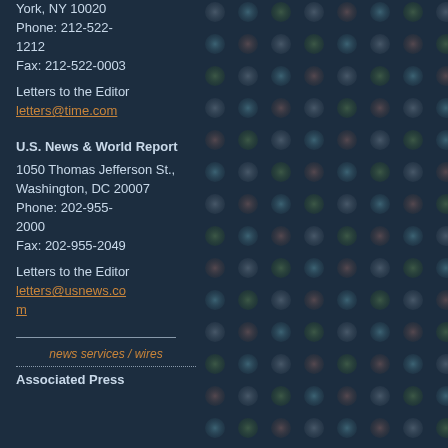York, NY 10020
Phone: 212-522-1212
Fax: 212-522-0003
Letters to the Editor
letters@time.com
U.S. News & World Report
1050 Thomas Jefferson St., Washington, DC 20007
Phone: 202-955-2000
Fax: 202-955-2049
Letters to the Editor
letters@usnews.com
news services / wires
Associated Press